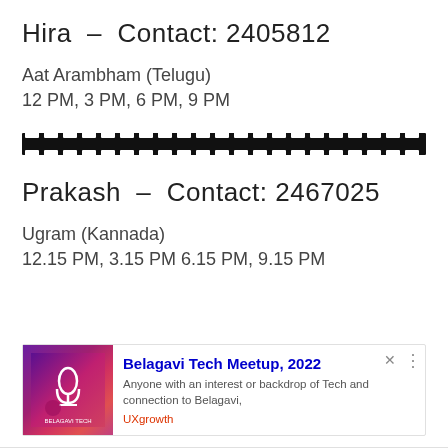Hira – Contact: 2405812
Aat Arambham (Telugu)
12 PM, 3 PM, 6 PM, 9 PM
[Figure (illustration): Filmstrip/cinema strip divider graphic]
Prakash – Contact: 2467025
Ugram (Kannada)
12.15 PM, 3.15 PM 6.15 PM, 9.15 PM
[Figure (infographic): Advertisement banner for Belagavi Tech Meetup 2022 with purple/pink image, title in blue, description text, and UXgrowth source label]